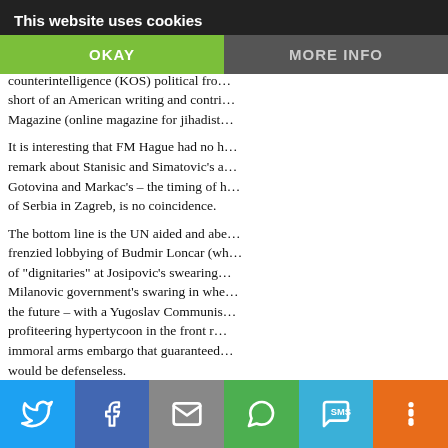This website uses cookies | OKAY | MORE INFO
genocidal aggressor.

Her activities and those of her brother... hovski was the head of the JNA Gen... counterintelligence (KOS) political fro... short of an American writing and contri... Magazine (online magazine for jihadist...

It is interesting that FM Hague had no h... remark about Stanisic and Simatovic's a... Gotovina and Markac's – the timing of h... of Serbia in Zagreb, is no coincidence.

The bottom line is the UN aided and abe... frenzied lobbying of Budmir Loncar (wh... of "dignitaries" at Josipovic's swearing... Milanovic government's swaring in whe... the future – with a Yugoslav Communis... profiteering hypertycoon in the front r... immoral arms embargo that guaranteed... would be defenseless.
Twitter | Facebook | Email | WhatsApp | SMS | More